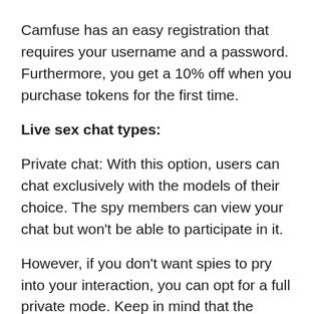Camfuse has an easy registration that requires your username and a password. Furthermore, you get a 10% off when you purchase tokens for the first time.
Live sex chat types:
Private chat: With this option, users can chat exclusively with the models of their choice. The spy members can view your chat but won't be able to participate in it.
However, if you don't want spies to pry into your interaction, you can opt for a full private mode. Keep in mind that the charges for full private chat are higher.